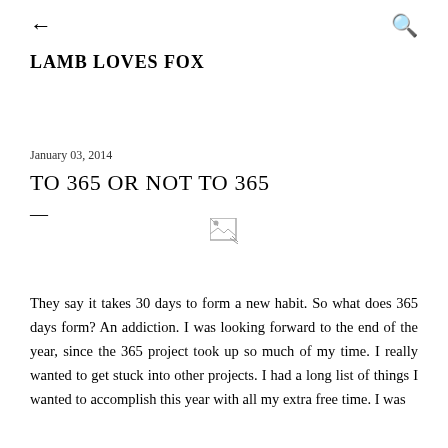← LAMB LOVES FOX 🔍
LAMB LOVES FOX
January 03, 2014
TO 365 OR NOT TO 365
—
[Figure (photo): Broken/missing image placeholder]
They say it takes 30 days to form a new habit. So what does 365 days form? An addiction. I was looking forward to the end of the year, since the 365 project took up so much of my time. I really wanted to get stuck into other projects. I had a long list of things I wanted to accomplish this year with all my extra free time. I was